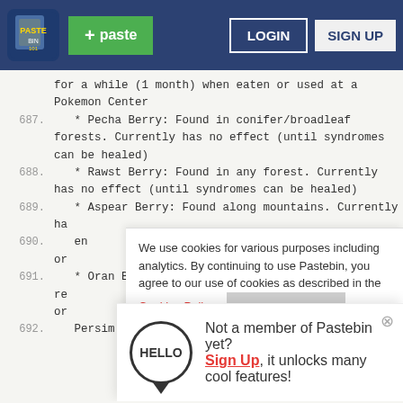Pastebin navigation bar with logo, + paste button, LOGIN, SIGN UP
for a while (1 month) when eaten or used at a Pokemon Center
687.  * Pecha Berry: Found in conifer/broadleaf forests. Currently has no effect (until syndromes can be healed)
688.  * Rawst Berry: Found in any forest. Currently has no effect (until syndromes can be healed)
689.  * Aspear Berry: Found along mountains. Currently ha
690.   en or
691.  * Oran Berry: Found in any forest. Increases re or
692.   Persim Berry: Found along mountains and sand
We use cookies for various purposes including analytics. By continuing to use Pastebin, you agree to our use of cookies as described in the Cookies Policy.  OK, I Understand
Not a member of Pastebin yet? Sign Up, it unlocks many cool features!